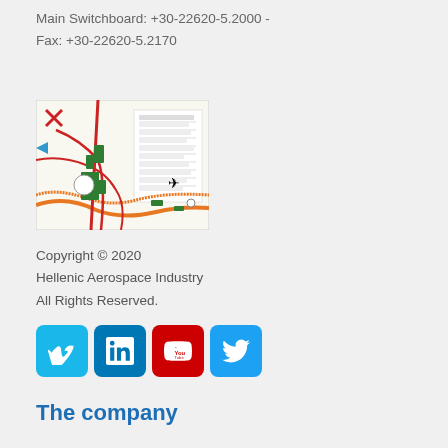Main Switchboard: +30-22620-5.2000 -
Fax: +30-22620-5.2170
[Figure (map): Road map showing directions to Hellenic Aerospace Industry facility, with roads, green markers, and an airplane icon indicating the airport location.]
Copyright © 2020
Hellenic Aerospace Industry
All Rights Reserved.
[Figure (infographic): Social media icons: Vimeo (light blue), LinkedIn (dark blue), YouTube (red), Twitter (light blue)]
The company
Cooperations
Human Resources
Environment